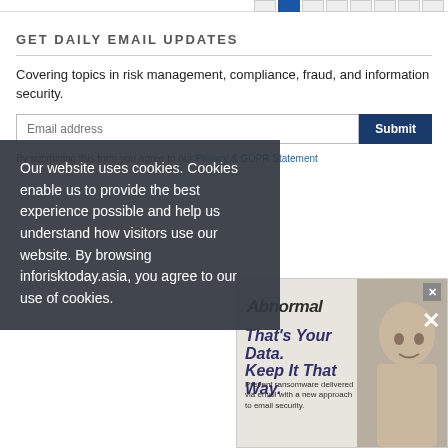GET DAILY EMAIL UPDATES
Covering topics in risk management, compliance, fraud, and information security.
Email address  [Submit button]
By submitting this form you agree to our Privacy & GDPR Statement
Our website uses cookies. Cookies enable us to provide the best experience possible and help us understand how visitors use our website. By browsing inforisktoday.asia, you agree to our use of cookies.
[Figure (advertisement): Abnormal Security ad: That's Your Data. Keep It That Way. Prevent ransomware delivered via email with a new approach to email security. Shows a person's face on the right side.]